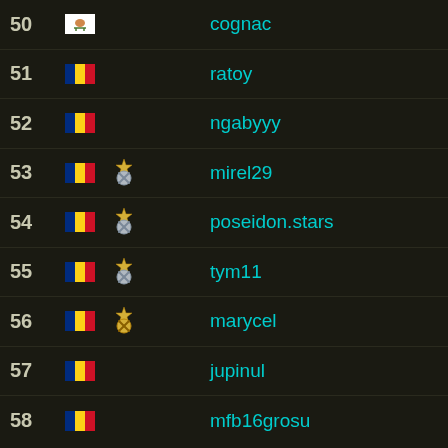50  cognac
51  ratoy
52  ngabyyy
53  mirel29
54  poseidon.stars
55  tym11
56  marycel
57  jupinul
58  mfb16grosu